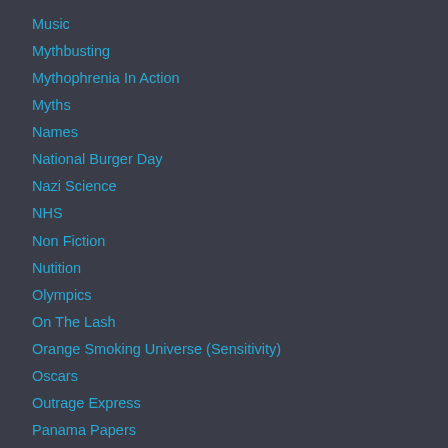Music
Mythbusting
Mythophrenia In Action
Myths
Names
National Burger Day
Nazi Science
NHS
Non Fiction
Nutition
Olympics
On The Lash
Orange Smoking Universe (Sensitivity)
Oscars
Outrage Express
Panama Papers
Parenting Skills
Parody News